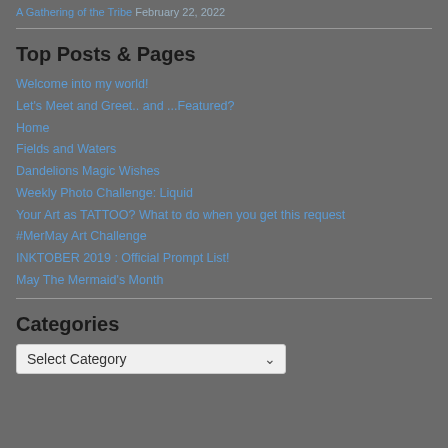A Gathering of the Tribe  February 22, 2022
Top Posts & Pages
Welcome into my world!
Let's Meet and Greet.. and ...Featured?
Home
Fields and Waters
Dandelions Magic Wishes
Weekly Photo Challenge: Liquid
Your Art as TATTOO? What to do when you get this request
#MerMay Art Challenge
INKTOBER 2019 : Official Prompt List!
May The Mermaid's Month
Categories
Select Category